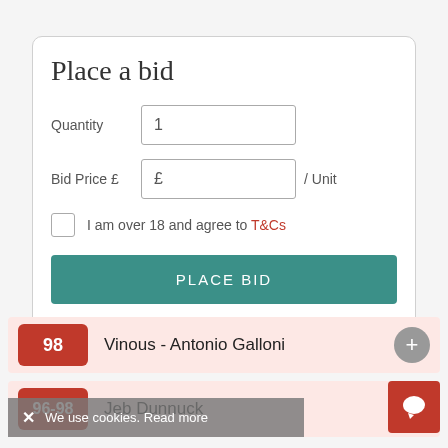Place a bid
Quantity  1
Bid Price £  £  / Unit
I am over 18 and agree to T&Cs
PLACE BID
98  Vinous - Antonio Galloni
96-98  Jeb Dunnuck
X  We use cookies. Read more